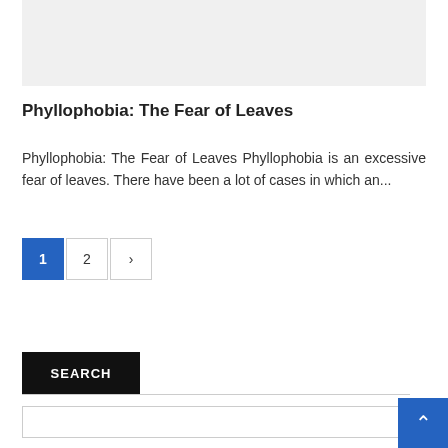[Figure (other): Gray placeholder image box at the top of the page]
Phyllophobia: The Fear of Leaves
Phyllophobia: The Fear of Leaves Phyllophobia is an excessive fear of leaves. There have been a lot of cases in which an...
1
2
>
SEARCH